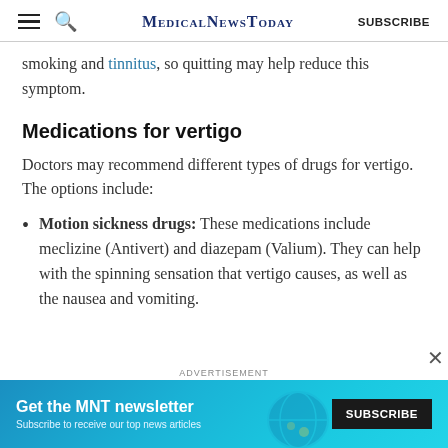MedicalNewsToday  SUBSCRIBE
smoking and tinnitus, so quitting may help reduce this symptom.
Medications for vertigo
Doctors may recommend different types of drugs for vertigo. The options include:
Motion sickness drugs: These medications include meclizine (Antivert) and diazepam (Valium). They can help with the spinning sensation that vertigo causes, as well as the nausea and vomiting.
[Figure (infographic): Advertisement banner: Get the MNT newsletter. Subscribe to receive our top news articles. Subscribe button. Close X button.]